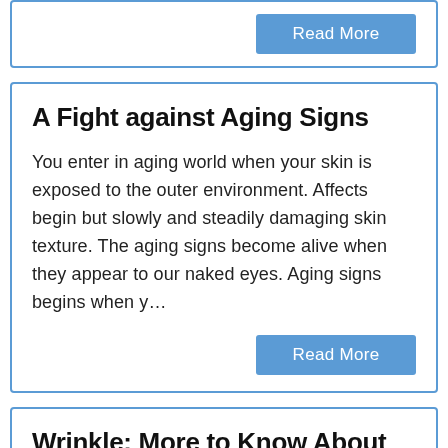Read More
A Fight against Aging Signs
You enter in aging world when your skin is exposed to the outer environment. Affects begin but slowly and steadily damaging skin texture. The aging signs become alive when they appear to our naked eyes. Aging signs begins when y…
Read More
Wrinkle: More to Know About